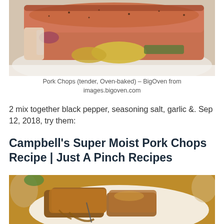[Figure (photo): Close-up photo of oven-baked pork chops on a white plate, showing seasoned meat with vegetables]
Pork Chops (tender, Oven-baked) – BigOven from images.bigoven.com
2 mix together black pepper, seasoning salt, garlic &. Sep 12, 2018, try them:
Campbell's Super Moist Pork Chops Recipe | Just A Pinch Recipes
[Figure (photo): Close-up photo of glazed pork chops on a white plate with gravy sauce]